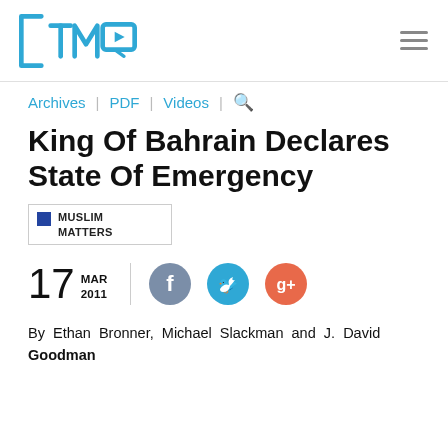TMO logo and navigation menu
Archives | PDF | Videos | Search
King Of Bahrain Declares State Of Emergency
MUSLIM MATTERS
17 MAR 2011
By Ethan Bronner, Michael Slackman and J. David Goodman